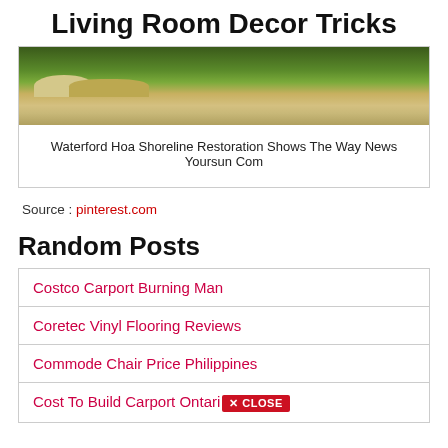Living Room Decor Tricks
[Figure (photo): Shoreline restoration photo showing rocky bank with grass and water]
Waterford Hoa Shoreline Restoration Shows The Way News Yoursun Com
Source : pinterest.com
Random Posts
Costco Carport Burning Man
Coretec Vinyl Flooring Reviews
Commode Chair Price Philippines
Cost To Build Carport Ontario